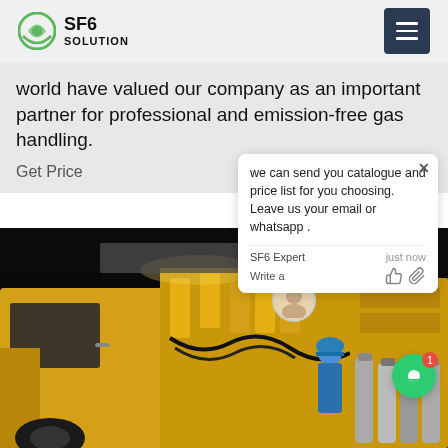SF6 SOLUTION
world have valued our company as an important partner for professional and emission-free gas handling.
Get Price
[Figure (photo): Yellow truck and industrial SF6 gas handling equipment at night, with gas cylinders and a worker in blue coveralls]
we can send you catalogue and price list for you choosing.
Leave us your email or whatsapp .
SF6 Expert   just now
Write a